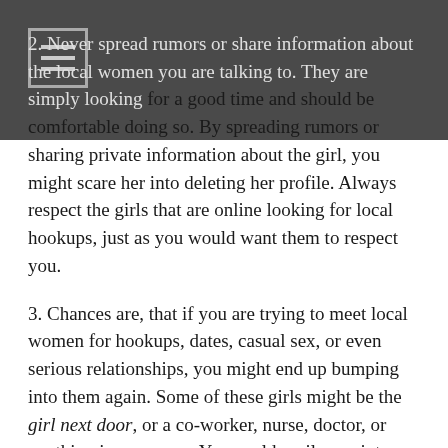2. Never spread rumors or share information about the local women you are talking to. They are simply looking for a good time and should be comfortable doing so. By spreading rumors or sharing private information about the girl, you might scare her into deleting her profile. Always respect the girls that are online looking for local hookups, just as you would want them to respect you.
3. Chances are, that if you are trying to meet local women for hookups, dates, casual sex, or even serious relationships, you might end up bumping into them again. Some of these girls might be the girl next door, or a co-worker, nurse, doctor, or anything in your area. You could easily run into past and present casual sex partners, hookups, fuck buddies and friends with benefits in public. Remember to be discrete and respectful.
4. Be discrete! This is very important! When you are online using a casual or adult dating service, discretion is